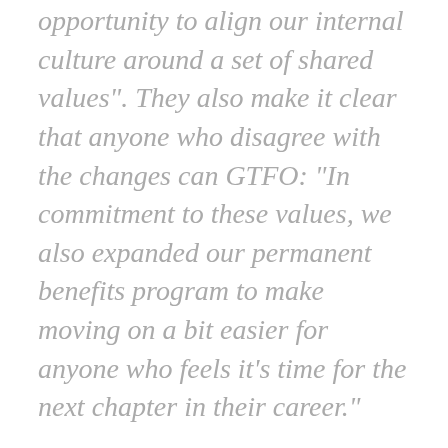opportunity to align our internal culture around a set of shared values". They also make it clear that anyone who disagree with the changes can GTFO: “In commitment to these values, we also expanded our permanent benefits program to make moving on a bit easier for anyone who feels it’s time for the next chapter in their career.”
That’s from Molly White’s terrific and wonderfully-named website and she’s is no danger of running out of content anytime soon. Because lots of everyones out there think all the other everyones are the suckers, or they’re not sure who is. But whatever, the sucker rule still applies.
And at the same time, it’s more than that. When the last